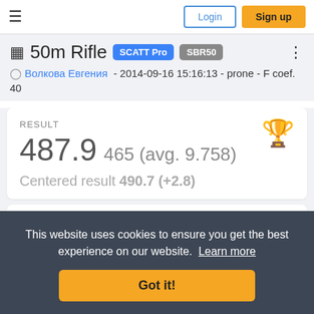≡  Login  Sign up
50m Rifle  SCATT Pro  SBR50
Волкова Евгения - 2014-09-16 15:16:13 - prone - F coef. 40
RESULT
487.9  465 (avg. 9.758)
Centered result 490.7 (+2.8)
This website uses cookies to ensure you get the best experience on our website.  Learn more
Got it!